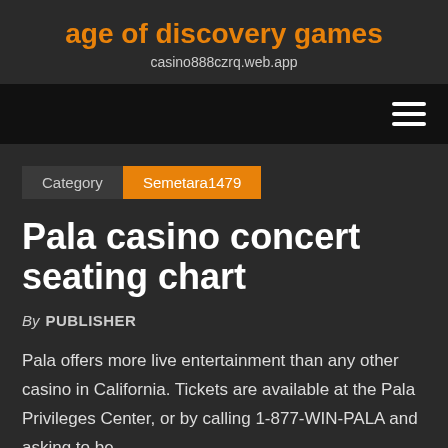age of discovery games
casino888czrq.web.app
Category  Semetara1479
Pala casino concert seating chart
By PUBLISHER
Pala offers more live entertainment than any other casino in California. Tickets are available at the Pala Privileges Center, or by calling 1-877-WIN-PALA and asking to be